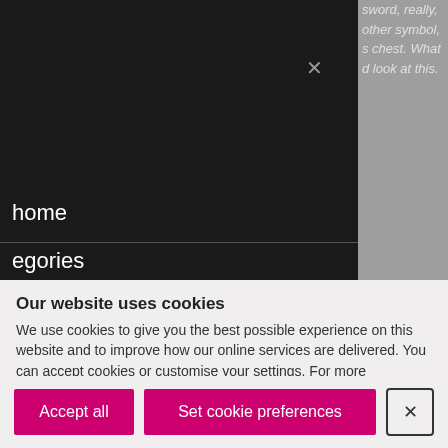[Figure (screenshot): Dark navigation menu overlay on left (dark background) with close X button, menu items 'home', 'egories', 'nd Museum of Scotland', and a grey panel on the right showing partially visible italic text: 'sword, really, other symbol, s chest. What d look at this.']
Our website uses cookies
We use cookies to give you the best possible experience on this website and to improve how our online services are delivered. You can accept cookies or customise your settings. For more information, see our cookie policy.
Accept all
Set cookie preferences